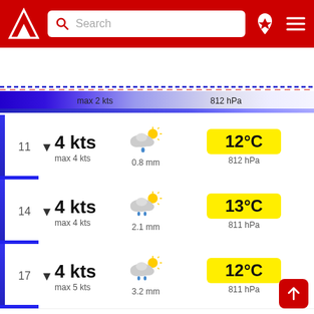[Figure (screenshot): Weather app header with red background, logo, search bar, pin icon and menu icon]
[Figure (infographic): Horizontal calendar strip showing days 29, 30, 31 (today highlighted), 1, 2, 3, 4, 5, 6, 7]
max 2 kts   812 hPa
11  ▼  4 kts  max 4 kts  [partly cloudy + rain]  0.8 mm  12°C  812 hPa
14  ▼  4 kts  max 4 kts  [partly cloudy + rain]  2.1 mm  13°C  811 hPa
17  ▼  4 kts  max 5 kts  [partly cloudy + rain]  3.2 mm  12°C  811 hPa
20  ▼  2 kts  max 3 kts  [partly cloudy + rain]  2.8 mm  9°C  812 hPa
23  ▶  1 kts  [night cloudy]  9°C